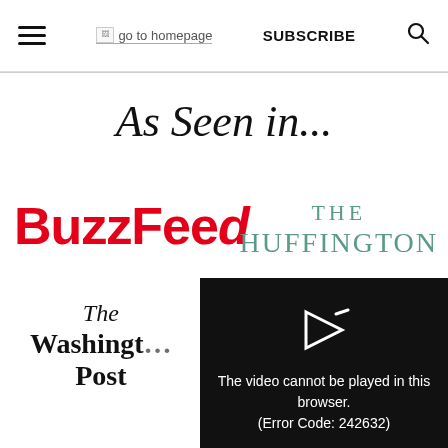≡  go to homepage  SUBSCRIBE  🔍
As Seen in...
[Figure (logo): BuzzFeed logo in bold red text]
[Figure (logo): The Huffington Post logo in teal/green serif text]
[Figure (screenshot): Video player error overlay: 'The video cannot be played in this browser. (Error Code: 242632)']
[Figure (logo): The Washington Post logo in black serif text]
The video cannot be played in this browser. (Error Code: 242632)